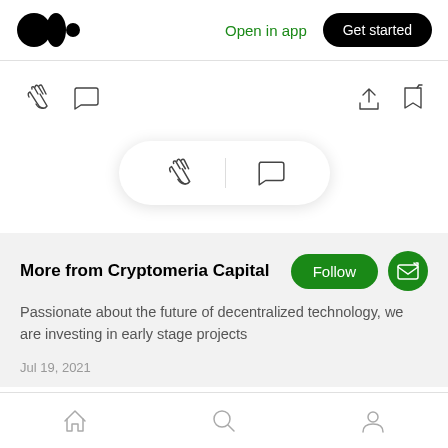Medium app header with Open in app and Get started
[Figure (screenshot): Action icons row with clap and comment icons on the left, share and bookmark icons on the right]
[Figure (infographic): Floating pill/card with clap and comment icons separated by a vertical divider]
More from Cryptomeria Capital
Passionate about the future of decentralized technology, we are investing in early stage projects
Jul 19, 2021
Bottom navigation bar with home, search, and profile icons